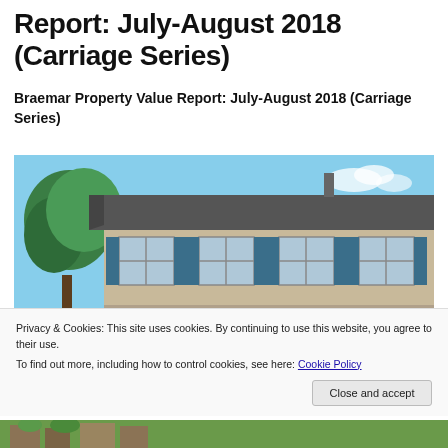Report: July-August 2018 (Carriage Series)
Braemar Property Value Report: July-August 2018 (Carriage Series)
[Figure (photo): Exterior photo of a two-story suburban home with dark roof, large windows with blue shutters, beige siding, and tree visible to the left against a blue sky]
Privacy & Cookies: This site uses cookies. By continuing to use this website, you agree to their use.
To find out more, including how to control cookies, see here: Cookie Policy
Close and accept
[Figure (photo): Partial view of another suburban property at the bottom of the page]